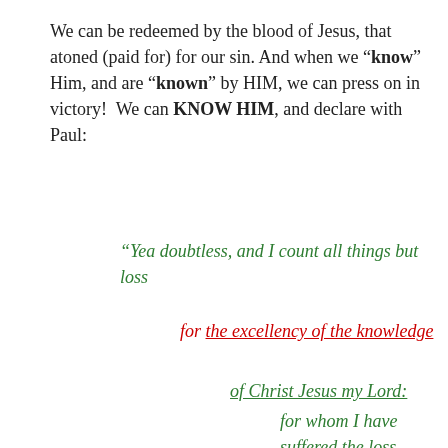We can be redeemed by the blood of Jesus, that atoned (paid for) for our sin. And when we “know” Him, and are “known” by HIM, we can press on in victory!  We can KNOW HIM, and declare with Paul:
“Yea doubtless, and I count all things but loss
for the excellency of the knowledge
of Christ Jesus my Lord:
for whom I have suffered the loss